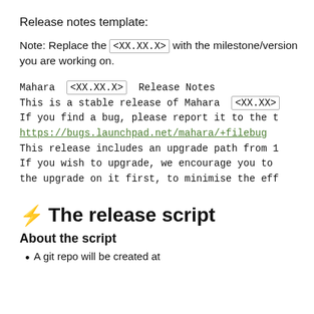Release notes template:
Note: Replace the <XX.XX.X> with the milestone/version you are working on.
Mahara <XX.XX.X> Release Notes
This is a stable release of Mahara <XX.XX>
If you find a bug, please report it to the t
https://bugs.launchpad.net/mahara/+filebug
This release includes an upgrade path from 1
If you wish to upgrade, we encourage you to
the upgrade on it first, to minimise the eff
⚡ The release script
About the script
A git repo will be created at